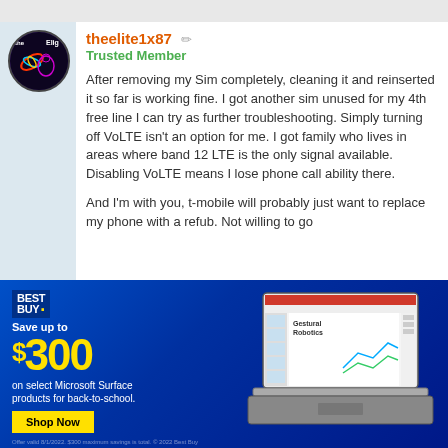[Figure (screenshot): Gray top navigation bar of a forum website]
[Figure (photo): Forum user avatar - circular profile image with dark purple/black background with colorful graphic]
theelite1x87 ✏
Trusted Member
After removing my Sim completely, cleaning it and reinserted it so far is working fine. I got another sim unused for my 4th free line I can try as further troubleshooting. Simply turning off VoLTE isn't an option for me. I got family who lives in areas where band 12 LTE is the only signal available. Disabling VoLTE means I lose phone call ability there.
And I'm with you, t-mobile will probably just want to replace my phone with a refub. Not willing to go
[Figure (screenshot): Best Buy advertisement - Save up to $300 on select Microsoft Surface products for back-to-school. Shows laptop with Gestural Robotics presentation on screen. Shop Now button.]